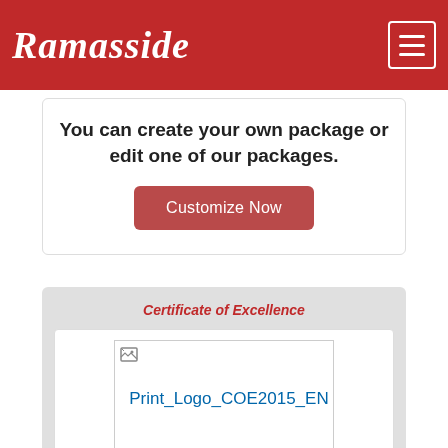Ramasside
You can create your own package or edit one of our packages.
Customize Now
Certificate of Excellence
[Figure (other): Broken image placeholder labeled Print_Logo_COE2015_EN]